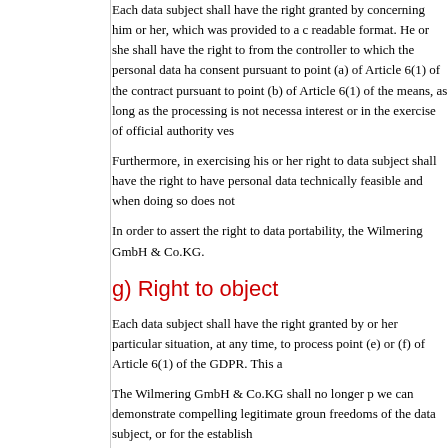Each data subject shall have the right granted by concerning him or her, which was provided to a c readable format. He or she shall have the right to from the controller to which the personal data ha consent pursuant to point (a) of Article 6(1) of the contract pursuant to point (b) of Article 6(1) of the means, as long as the processing is not necessa interest or in the exercise of official authority ves
Furthermore, in exercising his or her right to data subject shall have the right to have personal data technically feasible and when doing so does not
In order to assert the right to data portability, the Wilmering GmbH & Co.KG.
g) Right to object
Each data subject shall have the right granted by or her particular situation, at any time, to process point (e) or (f) of Article 6(1) of the GDPR. This a
The Wilmering GmbH & Co.KG shall no longer p we can demonstrate compelling legitimate groun freedoms of the data subject, or for the establish
If the Wilmering GmbH & Co.KG processes pers have the right to object at any time to processing This applies to profiling to the extent that it is rela Wilmering GmbH & Co.KG to the processing for no longer process the personal data for these pu
In addition, the data subject has the right, on gro processing of personal data concerning him or o